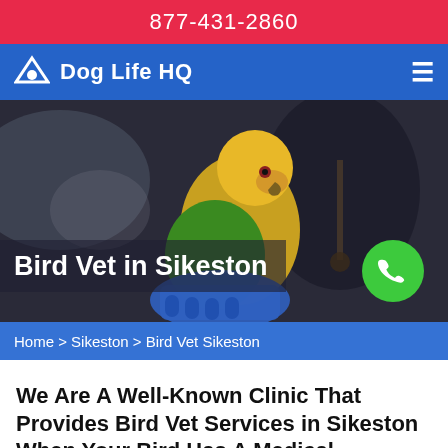877-431-2860
Dog Life HQ
[Figure (photo): A colorful yellow-green parrot perched on a gloved hand, with a veterinarian wearing a stethoscope in the background]
Bird Vet in Sikeston
Home > Sikeston > Bird Vet Sikeston
We Are A Well-Known Clinic That Provides Bird Vet Services in Sikeston When Your Bird Has A Medical